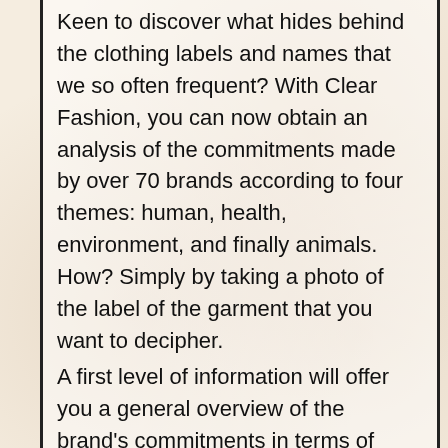Keen to discover what hides behind the clothing labels and names that we so often frequent? With Clear Fashion, you can now obtain an analysis of the commitments made by over 70 brands according to four themes: human, health, environment, and finally animals. How? Simply by taking a photo of the label of the garment that you want to decipher.
A first level of information will offer you a general overview of the brand's commitments in terms of composition, practices and labels obtained, while a